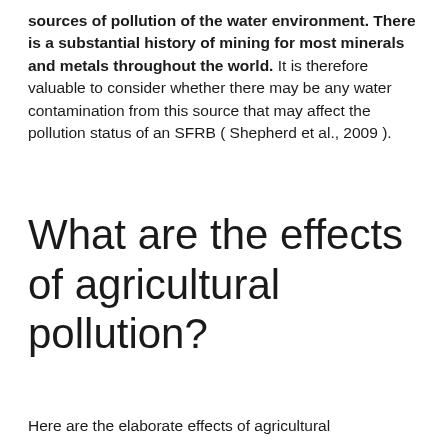sources of pollution of the water environment. There is a substantial history of mining for most minerals and metals throughout the world. It is therefore valuable to consider whether there may be any water contamination from this source that may affect the pollution status of an SFRB ( Shepherd et al., 2009 ).
What are the effects of agricultural pollution?
Here are the elaborate effects of agricultural pollution and the problems of the...